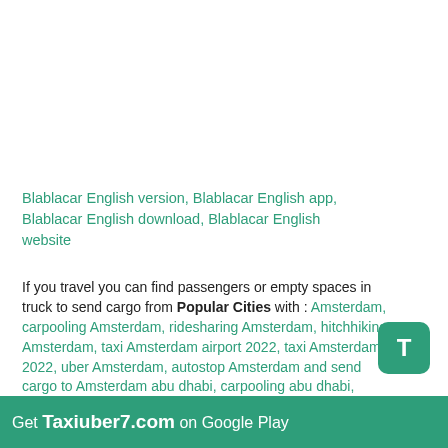Blablacar English version, Blablacar English app, Blablacar English download, Blablacar English website
If you travel you can find passengers or empty spaces in truck to send cargo from Popular Cities with : Amsterdam, carpooling Amsterdam, ridesharing Amsterdam, hitchhiking Amsterdam, taxi Amsterdam airport 2022, taxi Amsterdam 2022, uber Amsterdam, autostop Amsterdam and send cargo to Amsterdam abu dhabi, carpooling abu dhabi, ridesharing abu dhabi, hitchhiking abu dhabi, taxi abu dhabi airport 2022, taxi abu dhabi 2022, uber abu dhabi, autostop abu dhabi and send cargo to abu dhabi
[Figure (other): Green rounded square app button with letter T]
Get Taxiuber7.com on Google Play